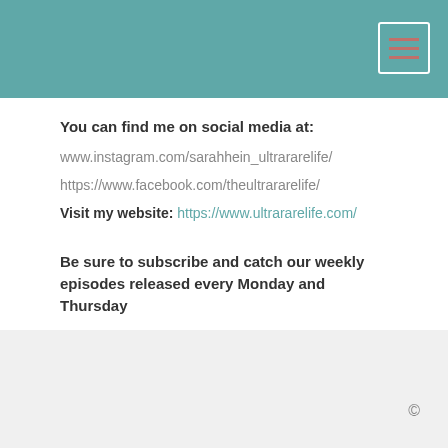[Figure (other): Teal header bar with menu icon (three horizontal red lines inside a white-bordered rectangle) in top-right corner]
You can find me on social media at:
www.instagram.com/sarahhein_ultrararelife/
https://www.facebook.com/theultrararelife/
Visit my website: https://www.ultrararelife.com/
Be sure to subscribe and catch our weekly episodes released every Monday and Thursday
©